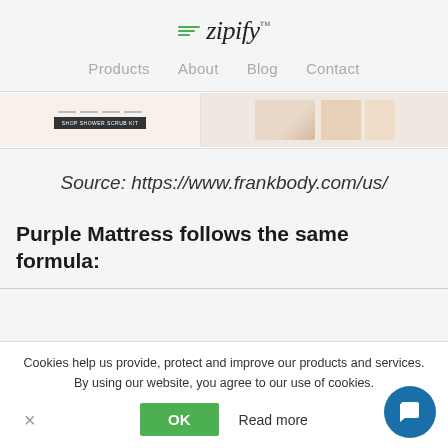zipify — Products | About | Blog | Contact
[Figure (screenshot): Partial screenshot of a product page showing product images with text/button overlay on the left and a product image on the right]
Source: https://www.frankbody.com/us/
Purple Mattress follows the same formula:
Cookies help us provide, protect and improve our products and services. By using our website, you agree to our use of cookies.
OK   Read more